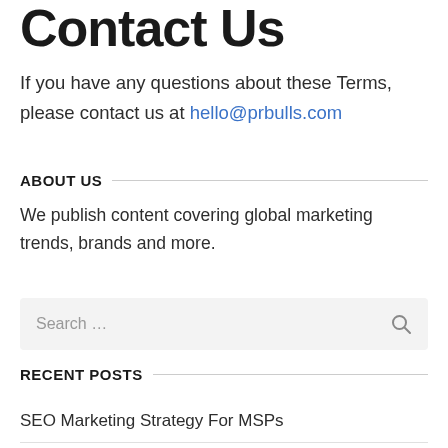Contact Us
If you have any questions about these Terms, please contact us at hello@prbulls.com
ABOUT US
We publish content covering global marketing trends, brands and more.
RECENT POSTS
SEO Marketing Strategy For MSPs
Improving The Retail Experience Through Online Upselling Strategies